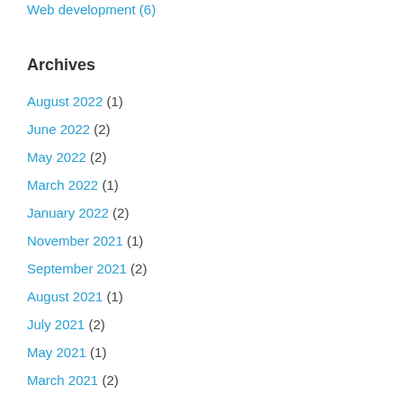Web development (6)
Archives
August 2022 (1)
June 2022 (2)
May 2022 (2)
March 2022 (1)
January 2022 (2)
November 2021 (1)
September 2021 (2)
August 2021 (1)
July 2021 (2)
May 2021 (1)
March 2021 (2)